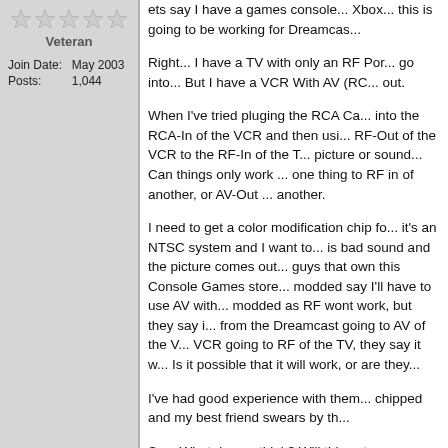[Figure (other): Five star rating icons]
Veteran
Join Date:   May 2003
Posts:   1,044
ets say I have a games console... Xbox... this is going to be working for Dreamcas...
Right... I have a TV with only an RF Por... go into... But I have a VCR With AV (RC... out.
When I've tried pluging the RCA Ca... into the RCA-In of the VCR and then usi... RF-Out of the VCR to the RF-In of the T... picture or sound... Can things only work ... one thing to RF in of another, or AV-Out ... another.
I need to get a color modification chip fo... it's an NTSC system and I want to... is bad sound and the picture comes out... guys that own this Console Games store... modded say I'll have to use AV with... modded as RF wont work, but they say i... from the Dreamcast going to AV of the V... VCR going to RF of the TV, they say it w... Is it possible that it will work, or are they...
I've had good experience with them... chipped and my best friend swears by th...
So... What do you think? Will this setup ...
D......t (C.l.. M.difi.d) AV O.t...